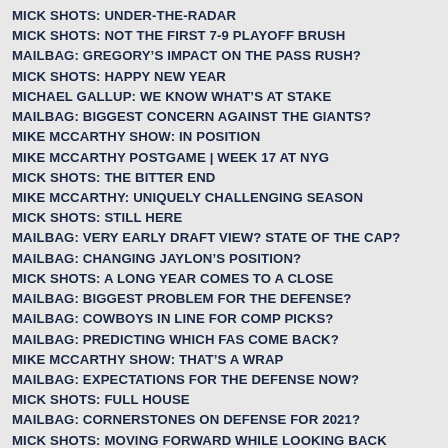MICK SHOTS: UNDER-THE-RADAR
MICK SHOTS: NOT THE FIRST 7-9 PLAYOFF BRUSH
MAILBAG: GREGORY'S IMPACT ON THE PASS RUSH?
MICK SHOTS: HAPPY NEW YEAR
MICHAEL GALLUP: WE KNOW WHAT'S AT STAKE
MAILBAG: BIGGEST CONCERN AGAINST THE GIANTS?
MIKE MCCARTHY SHOW: IN POSITION
MIKE MCCARTHY POSTGAME | WEEK 17 AT NYG
MICK SHOTS: THE BITTER END
MIKE MCCARTHY: UNIQUELY CHALLENGING SEASON
MICK SHOTS: STILL HERE
MAILBAG: VERY EARLY DRAFT VIEW? STATE OF THE CAP?
MAILBAG: CHANGING JAYLON'S POSITION?
MICK SHOTS: A LONG YEAR COMES TO A CLOSE
MAILBAG: BIGGEST PROBLEM FOR THE DEFENSE?
MAILBAG: COWBOYS IN LINE FOR COMP PICKS?
MAILBAG: PREDICTING WHICH FAS COME BACK?
MIKE MCCARTHY SHOW: THAT'S A WRAP
MAILBAG: EXPECTATIONS FOR THE DEFENSE NOW?
MICK SHOTS: FULL HOUSE
MAILBAG: CORNERSTONES ON DEFENSE FOR 2021?
MICK SHOTS: MOVING FORWARD WHILE LOOKING BACK
MAILBAG: AN INTERESTING DRAFT HYPOTHETICAL?